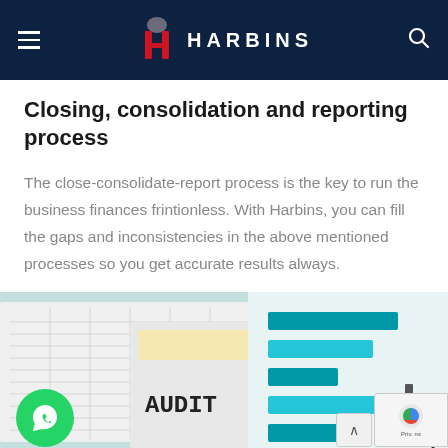HARBINS
Closing, consolidation and reporting process
The close-consolidate-report process is the key to run the business finances frintionless. With Harbins, you can fill the gaps and inconsistencies in the above mentioned processes so you get accurate results always.
[Figure (photo): A calculator displaying 'AUDIT' on its screen, placed on top of spreadsheet papers, alongside a bar chart document with teal/blue colored bars and a pen pointing at it.]